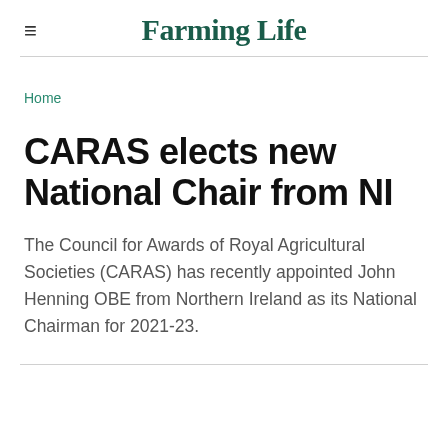Farming Life
Home
CARAS elects new National Chair from NI
The Council for Awards of Royal Agricultural Societies (CARAS) has recently appointed John Henning OBE from Northern Ireland as its National Chairman for 2021-23.